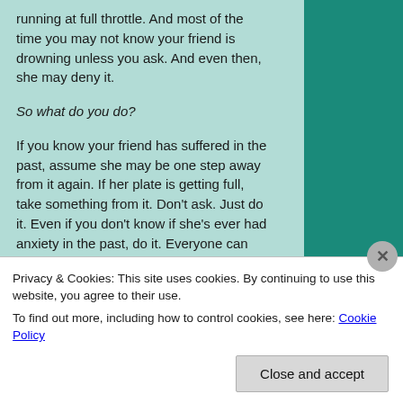running at full throttle. And most of the time you may not know your friend is drowning unless you ask. And even then, she may deny it.
So what do you do?
If you know your friend has suffered in the past, assume she may be one step away from it again. If her plate is getting full, take something from it. Don't ask. Just do it. Even if you don't know if she's ever had anxiety in the past, do it. Everyone can use a helping hand. Drop off a cup of coffee or take her kid to the park. Offer to run that carpool or go halfsies on a birthday gift–then pick it up
Privacy & Cookies: This site uses cookies. By continuing to use this website, you agree to their use.
To find out more, including how to control cookies, see here: Cookie Policy
Close and accept